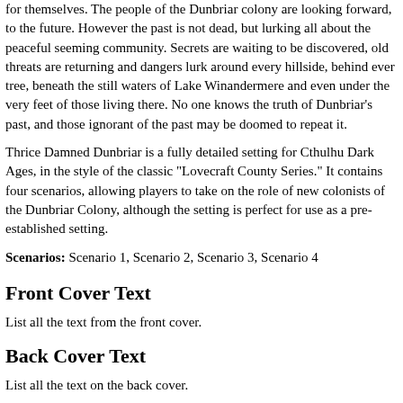for themselves. The people of the Dunbriar colony are looking forward, to the future. However the past is not dead, but lurking all about the peaceful seeming community. Secrets are waiting to be discovered, old threats are returning and dangers lurk around every hillside, behind ever tree, beneath the still waters of Lake Winandermere and even under the very feet of those living there. No one knows the truth of Dunbriar’s past, and those ignorant of the past may be doomed to repeat it.
Thrice Damned Dunbriar is a fully detailed setting for Cthulhu Dark Ages, in the style of the classic "Lovecraft County Series." It contains four scenarios, allowing players to take on the role of new colonists of the Dunbriar Colony, although the setting is perfect for use as a pre-established setting.
Scenarios: Scenario 1, Scenario 2, Scenario 3, Scenario 4
Front Cover Text
List all the text from the front cover.
Back Cover Text
List all the text on the back cover.